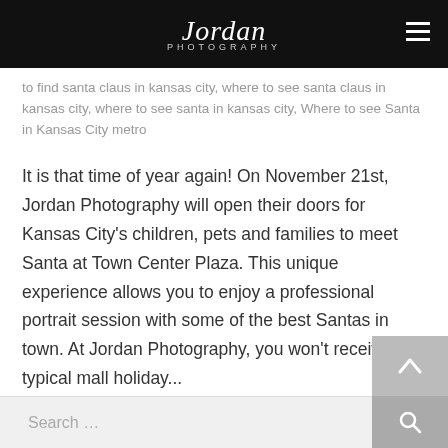Jordan Photography
to find santa claus in kansas city, where to see santa claus in kansas city, where to see santa in kansas city, Where to see Santa in Kansas City metro
It is that time of year again! On November 21st, Jordan Photography will open their doors for Kansas City's children, pets and families to meet Santa at Town Center Plaza. This unique experience allows you to enjoy a professional portrait session with some of the best Santas in town. At Jordan Photography, you won't receive the typical mall holiday...